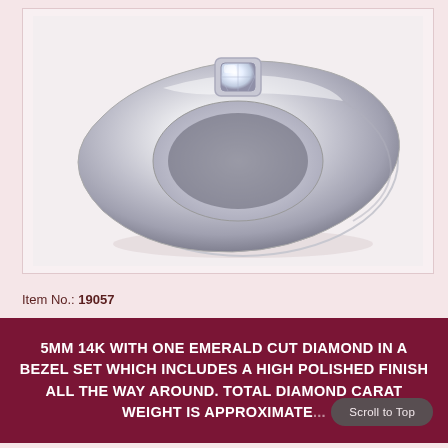[Figure (photo): A white gold or platinum men's/women's band ring with a single emerald cut diamond in a bezel setting, high polished finish, shown at an angle on a light pink/white background.]
Item No.: 19057
5MM 14K WITH ONE EMERALD CUT DIAMOND IN A BEZEL SET WHICH INCLUDES A HIGH POLISHED FINISH ALL THE WAY AROUND. TOTAL DIAMOND CARAT WEIGHT IS APPROXIMATE...
Scroll to Top